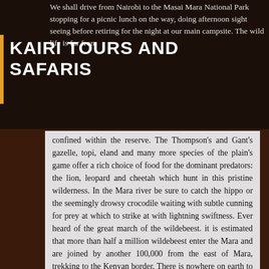KAIRI TOURS AND SAFARIS
We shall drive from Nairobi to the Masai Mara National Park stopping for a picnic lunch on the way, doing afternoon sight seeing before retiring for the night at our main campsite. The wild life is far from confined within the reserve. The Thompson's and Gant's gazelle, topi, eland and many more species of the plain's game offer a rich choice of food for the dominant predators: the lion, leopard and cheetah which hunt in this pristine wilderness. In the Mara river be sure to catch the hippo or the seemingly drowsy crocodile waiting with subtle cunning for prey at which to strike at with lightning swiftness. Ever heard of the great march of the wildebeest. it is estimated that more than half a million wildebeest enter the Mara and are joined by another 100,000 from the east of Mara, trekking to the Kenyan border. There is nowhere on earth to compare this wildlife marvel. Driving in the midst of this herds is an unimaginable experience. The next two days will be spent game viewing and sight seeing in this natural wonderland.